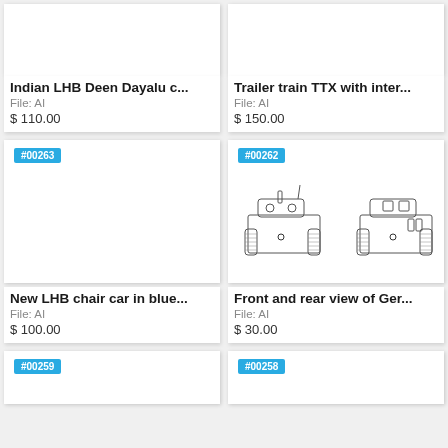[Figure (illustration): Partial top of product card for Indian LHB Deen Dayalu coach - image area mostly white/blank]
[Figure (illustration): Partial top of product card for Trailer train TTX with intermodal - image area mostly white/blank]
Indian LHB Deen Dayalu c...
File: AI
$ 110.00
Trailer train TTX with inter...
File: AI
$ 150.00
#00263
[Figure (illustration): New LHB chair car in blue - blank white image area]
#00262
[Figure (engineering-diagram): Front and rear view of German Tiger tank engineering/blueprint diagram showing front and rear orthographic views]
New LHB chair car in blue...
File: AI
$ 100.00
Front and rear view of Ger...
File: AI
$ 30.00
#00259
#00258